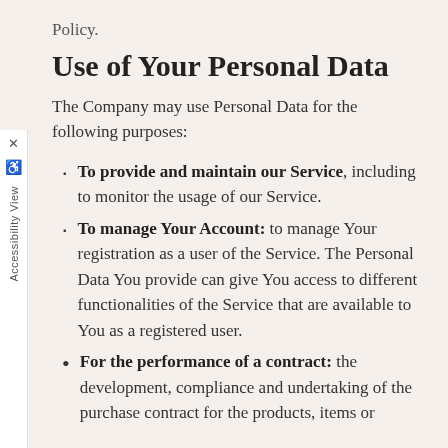Policy.
Use of Your Personal Data
The Company may use Personal Data for the following purposes:
To provide and maintain our Service, including to monitor the usage of our Service.
To manage Your Account: to manage Your registration as a user of the Service. The Personal Data You provide can give You access to different functionalities of the Service that are available to You as a registered user.
For the performance of a contract: the development, compliance and undertaking of the purchase contract for the products, items or